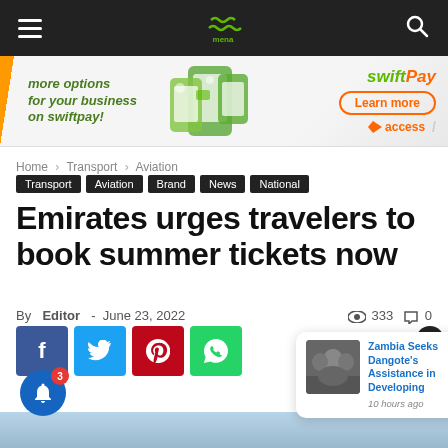Mena Report — navigation bar with logo, hamburger menu, search icon
[Figure (infographic): SwiftPay advertisement banner: 'more options for your business on swiftpay!' with phone devices graphic, 'Learn more' button, swiftPay and access logos]
Home › Transport › Aviation
Transport
Aviation
Brand
News
National
Emirates urges travelers to book summer tickets now
By Editor - June 23, 2022  👁 333  💬 0
[Figure (infographic): Social share buttons: Facebook, Twitter, Pinterest, WhatsApp]
[Figure (infographic): Notification popup: image of people at a meeting, text 'Zambia Seeks Dangote's Assistance in Developing', '10 hours ago']